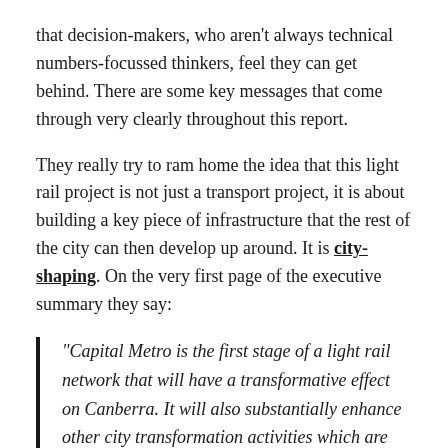that decision-makers, who aren't always technical numbers-focussed thinkers, feel they can get behind. There are some key messages that come through very clearly throughout this report.
They really try to ram home the idea that this light rail project is not just a transport project, it is about building a key piece of infrastructure that the rest of the city can then develop up around. It is city-shaping. On the very first page of the executive summary they say:
“Capital Metro is the first stage of a light rail network that will have a transformative effect on Canberra. It will also substantially enhance other city transformation activities which are planned or underway…